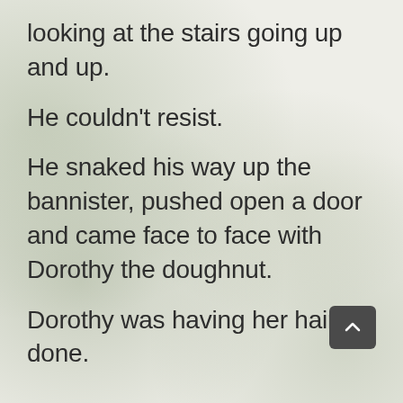looking at the stairs going up and up.
He couldn't resist.
He snaked his way up the bannister, pushed open a door and came face to face with Dorothy the doughnut.
Dorothy was having her hair done.